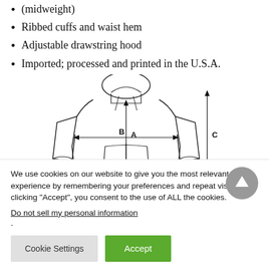(midweight)
Ribbed cuffs and waist hem
Adjustable drawstring hood
Imported; processed and printed in the U.S.A.
[Figure (illustration): Line drawing of a hoodie sweatshirt with measurement indicators: A (vertical length from collar to hem), B (horizontal width across chest), C (total garment length on the side)]
We use cookies on our website to give you the most relevant experience by remembering your preferences and repeat visits. By clicking “Accept”, you consent to the use of ALL the cookies.
Do not sell my personal information.